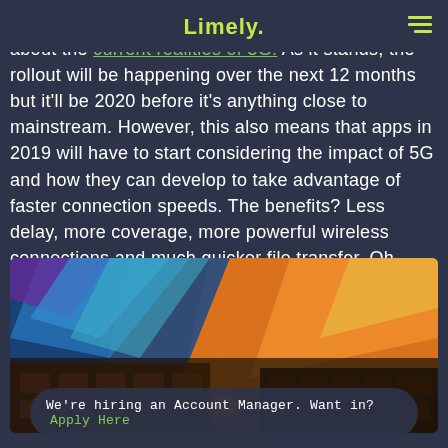Limely (logo)
A couple of weeks ago, we wrote a quick blog post about the current realities of 5G. As it stands, the rollout will be happening over the next 12 months but it'll be 2020 before it's anything close to mainstream. However, this also means that apps in 2019 will have to start considering the impact of 5G and how they can develop to take advantage of faster connection speeds. The benefits? Less delay, more coverage, more powerful wireless connections and much quicker file transfer. Oh... and a better overall experience, of course!
[Figure (photo): Close-up photo of a MacBook laptop keyboard with colorful abstract light streaks in orange, blue, purple colors reflected on the screen and surface]
We're hiring an Account Manager. Want in? Apply Here